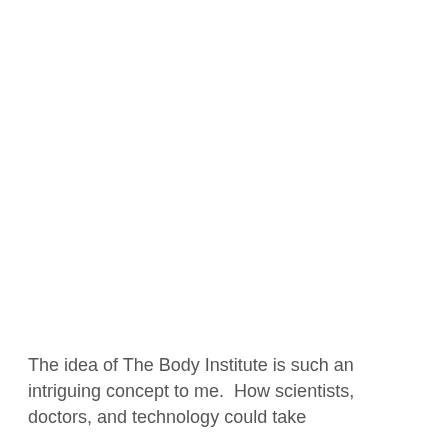The idea of The Body Institute is such an intriguing concept to me.  How scientists, doctors, and technology could take